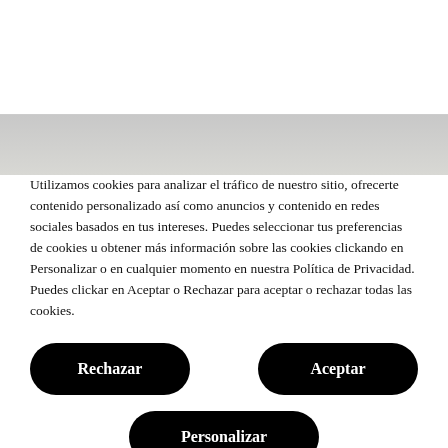[Figure (screenshot): Top white area with gray gradient band below, representing a website header/cookie banner background]
Utilizamos cookies para analizar el tráfico de nuestro sitio, ofrecerte contenido personalizado así como anuncios y contenido en redes sociales basados en tus intereses. Puedes seleccionar tus preferencias de cookies u obtener más información sobre las cookies clickando en Personalizar o en cualquier momento en nuestra Política de Privacidad. Puedes clickar en Aceptar o Rechazar para aceptar o rechazar todas las cookies.
Rechazar
Aceptar
Personalizar